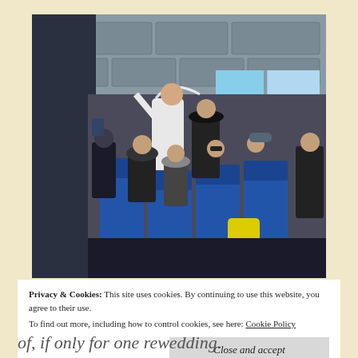[Figure (photo): Interior of a ferry boat with blue seats. A person in a white wedding dress with veil raises their arm, standing near a person in a black hat. Seated passengers look on and take photos. Windows to the outside are visible in the background.]
Privacy & Cookies: This site uses cookies. By continuing to use this website, you agree to their use.
To find out more, including how to control cookies, see here: Cookie Policy
Close and accept
of, if only for one rewedding.